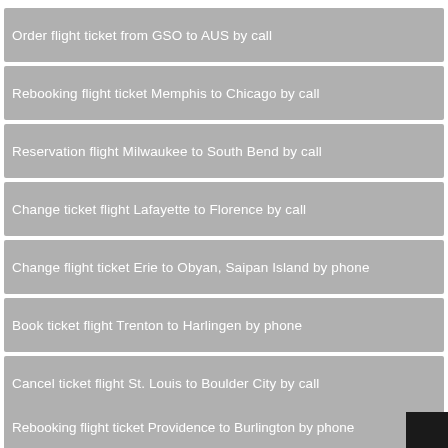Order flight ticket from GSO to AUS by call
Rebooking flight ticket Memphis to Chicago by call
Reservation flight Milwaukee to South Bend by call
Change ticket flight Lafayette to Florence by call
Change flight ticket Erie to Obyan, Saipan Island by phone
Book ticket flight Trenton to Harlingen by phone
Cancel ticket flight St. Louis to Boulder City by call
Rebooking flight ticket Providence to Burlington by phone